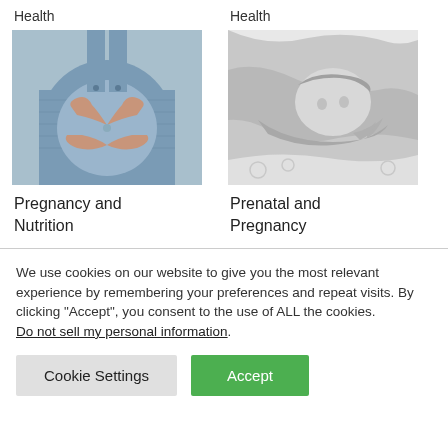Health
[Figure (photo): Pregnant woman in denim overalls forming a heart shape with her hands over her belly]
Pregnancy and Nutrition
Health
[Figure (photo): Black and white photo of a mother holding a newborn baby]
Prenatal and Pregnancy
We use cookies on our website to give you the most relevant experience by remembering your preferences and repeat visits. By clicking "Accept", you consent to the use of ALL the cookies. Do not sell my personal information.
Cookie Settings
Accept